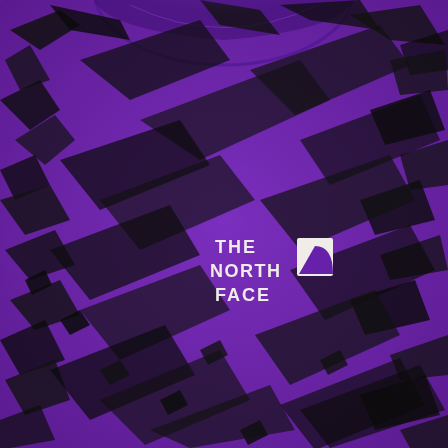[Figure (photo): Close-up photo of a purple The North Face T-shirt with an all-over black abstract geometric/angular print pattern resembling sharp brush strokes or mountain shards. The North Face logo (white text with half-dome icon) is printed on the chest center. The neckline/collar is visible at the top.]